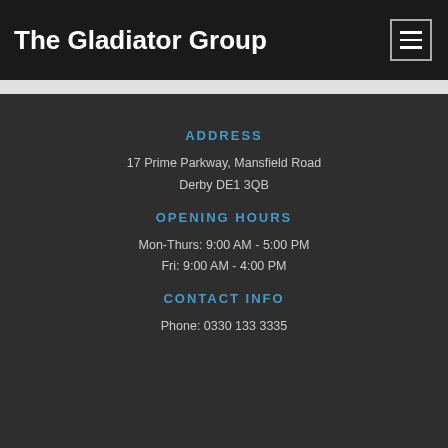The Gladiator Group
ADDRESS
17 Prime Parkway, Mansfield Road
Derby DE1 3QB
OPENING HOURS
Mon-Thurs: 9:00 AM - 5:00 PM
Fri: 9:00 AM - 4:00 PM
CONTACT INFO
Phone: 0330 133 3335